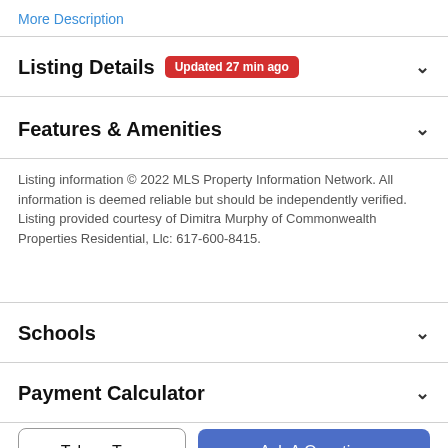More Description
Listing Details  Updated 27 min ago
Features & Amenities
Listing information © 2022 MLS Property Information Network. All information is deemed reliable but should be independently verified. Listing provided courtesy of Dimitra Murphy of Commonwealth Properties Residential, Llc: 617-600-8415.
Schools
Payment Calculator
Take a Tour
Ask A Question